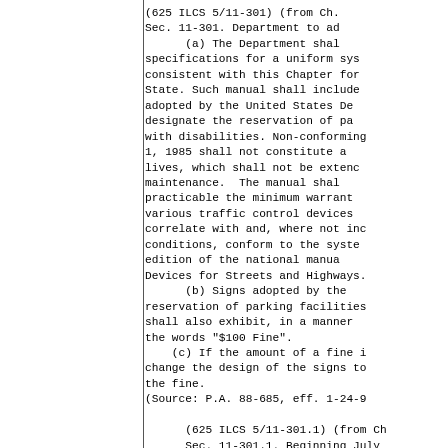(625 ILCS 5/11-301) (from Ch.
Sec. 11-301. Department to ad
    (a) The Department shal
specifications for a uniform sys
consistent with this Chapter for
State. Such manual shall include
adopted by the United States De
designate the reservation of pa
with disabilities. Non-conforming
1, 1985 shall not constitute a
lives, which shall not be extenc
maintenance.  The manual shal
practicable the minimum warrant
various traffic control devices
correlate with and, where not inc
conditions, conform to the syste
edition of the national manua
Devices for Streets and Highways.
    (b) Signs adopted by the
reservation of parking facilities
shall also exhibit, in a manner
the words "$100 Fine".
    (c) If the amount of a fine i
change the design of the signs to
the fine.
(Source: P.A. 88-685, eff. 1-24-9

    (625 ILCS 5/11-301.1) (from Ch
    Sec. 11-301.1. Beginning July